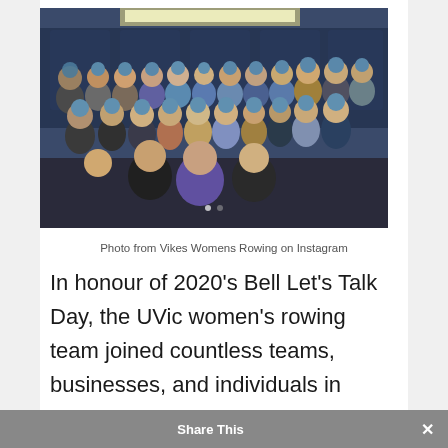[Figure (photo): Group photo of UVic Vikes Women's Rowing team wearing blue pom-pom hats indoors, posing in three rows]
Photo from Vikes Womens Rowing on Instagram
In honour of 2020's Bell Let's Talk Day, the UVic women's rowing team joined countless teams, businesses, and individuals in advocating for healthy mental health practices on Instagram.
Share This ×